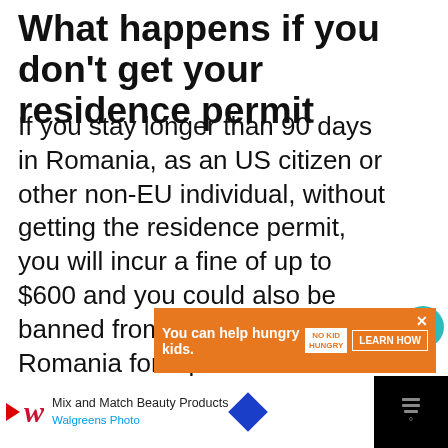What happens if you don't get your residence permit
If you stay longer than 90 days in Romania, as an US citizen or other non-EU individual, without getting the residence permit, you will incur a fine of up to $600 and you could also be banned from returning to Romania for a period of time that depends on the length of the overstay (but usually no longer than 1 year).
[Figure (other): Orange advertisement banner: 'You can help hungry kids. NO KID HUNGRY LEARN HOW' with close X button]
[Figure (other): Walgreens advertisement banner at bottom: 'Mix and Match Beauty Products Walgreens Photo' with navigation arrow icon and close button]